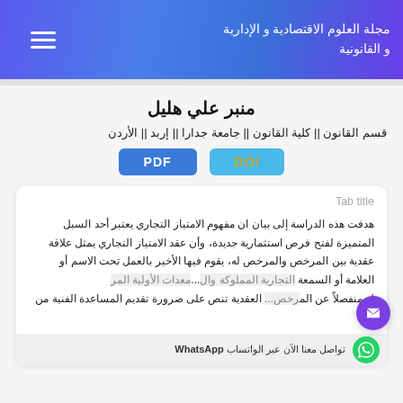مجلة العلوم الاقتصادية و الإدارية و القانونية
منبر علي هليل
قسم القانون || كلية القانون || جامعة جدارا || إربد || الأردن
PDF   DOI
Tab title
هدفت هذه الدراسة إلى بيان ان مفهوم الامتياز التجاري يعتبر أحد السبل المتميزة لفتح فرص استثمارية جديدة، وأن عقد الامتياز التجاري يمثل علاقة عقدية بين المرخص والمرخص له، يقوم فيها الأخير بالعمل تحت الاسم أو العلامة أو السمعة التجارية المملوكة والمعدات الأولية المرخصة بين المرخص له منفصلاً عن الم... العقدية تنص على ضرورة تقديم المساعدة الفنية من قبل